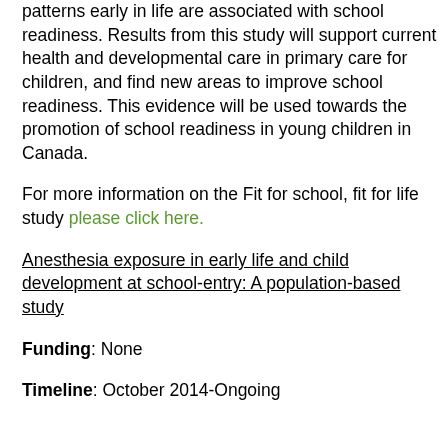patterns early in life are associated with school readiness. Results from this study will support current health and developmental care in primary care for children, and find new areas to improve school readiness. This evidence will be used towards the promotion of school readiness in young children in Canada.
For more information on the Fit for school, fit for life study please click here.
Anesthesia exposure in early life and child development at school-entry: A population-based study
Funding: None
Timeline: October 2014-Ongoing